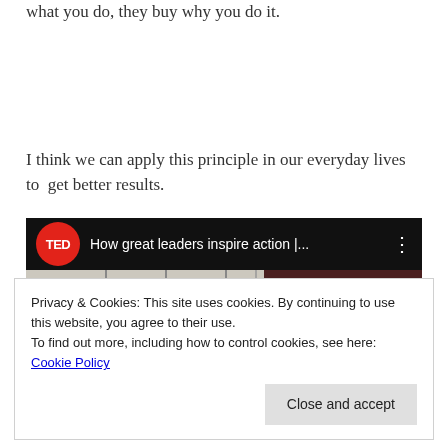what you do, they buy why you do it.
I think we can apply this principle in our everyday lives to get better results.
[Figure (screenshot): Embedded YouTube/TED video thumbnail showing 'How great leaders inspire action |...' with TED red circle logo on black top bar, and a split thumbnail showing sketch drawings on the left and a person on dark red background on the right]
Privacy & Cookies: This site uses cookies. By continuing to use this website, you agree to their use.
To find out more, including how to control cookies, see here: Cookie Policy
Close and accept